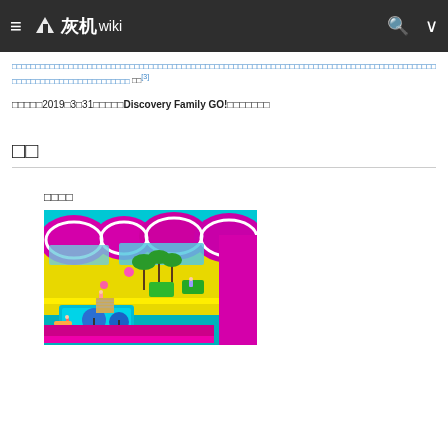灰机wiki
□□□□□□□□□□□□□□□□□□□□□□□□□□□□□□□□□□□□□□□□□□□□□□□□□□□□□□□□□□□□□□□□□□□□□□□□□□□□□□□□□□□□□□□□□□□□□□□□□□□□□□□□□□□□□□□□□□□[3]
□□□□□2019□3□31□□□□□Discovery Family GO!□□□□□□□
□□
□□□□
[Figure (illustration): Colorful animated cruise ship deck scene with teal ocean, magenta/purple decorative elements, yellow walls, cartoon characters on deck areas with pool, trees, and recreational activities]